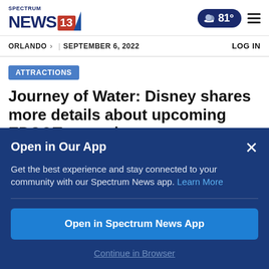Spectrum News 13 | Weather: 81°
ORLANDO > | SEPTEMBER 6, 2022  LOG IN
ATTRACTIONS
Journey of Water: Disney shares more details about upcoming EPCOT attraction
ORANGE COUNTY | 1 WEEK AGO
Open in Our App
Get the best experience and stay connected to your community with our Spectrum News app. Learn More
Open in Spectrum News App
Continue in Browser